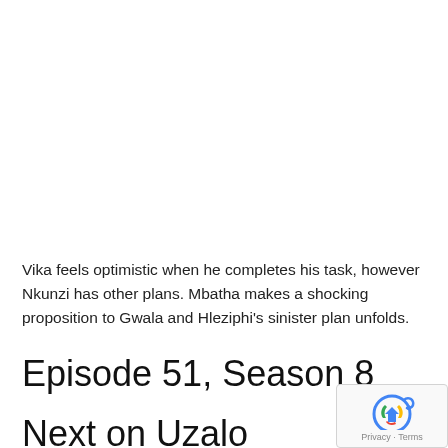Vika feels optimistic when he completes his task, however Nkunzi has other plans. Mbatha makes a shocking proposition to Gwala and Hleziphi's sinister plan unfolds.
Episode 51, Season 8
Next on Uzalo